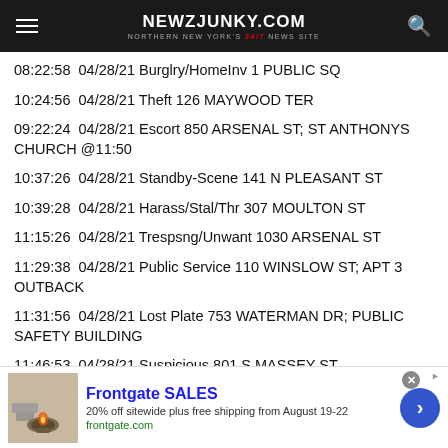NEWZJUNKY.COM — Northern New York's 24/7 News Site
08:22:58  04/28/21 Burglry/HomeInv 1 PUBLIC SQ
10:24:56  04/28/21 Theft 126 MAYWOOD TER
09:22:24  04/28/21 Escort 850 ARSENAL ST; ST ANTHONYS CHURCH @11:50
10:37:26  04/28/21 Standby-Scene 141 N PLEASANT ST
10:39:28  04/28/21 Harass/Stal/Thr 307 MOULTON ST
11:15:26  04/28/21 Trespsng/Unwant 1030 ARSENAL ST
11:29:38  04/28/21 Public Service 110 WINSLOW ST; APT 3 OUTBACK
11:31:56  04/28/21 Lost Plate 753 WATERMAN DR; PUBLIC SAFETY BUILDING
11:46:53  04/28/21 Suspicious 801 S MASSEY ST
11:51:29  04/28/21 Disturb/Nuisnce HUNTINGTON HEIGHTS
[Figure (screenshot): Frontgate SALES advertisement banner: 20% off sitewide plus free shipping from August 19-22, frontgate.com]